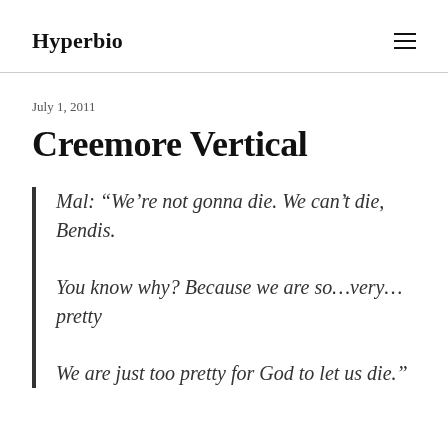Hyperbio
July 1, 2011
Creemore Vertical
Mal: “We’re not gonna die. We can’t die, Bendis.

You know why? Because we are so…very… pretty

We are just too pretty for God to let us die.”